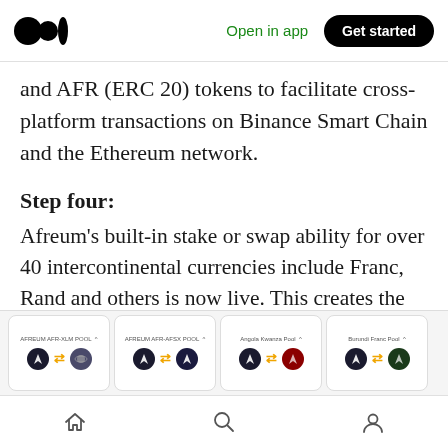Medium — Open in app  Get started
and AFR (ERC 20) tokens to facilitate cross-platform transactions on Binance Smart Chain and the Ethereum network.
Step four:
Afreum's built-in stake or swap ability for over 40 intercontinental currencies include Franc, Rand and others is now live. This creates the ability for users of these currencies to be connected to blockchain tokens around the world.
[Figure (screenshot): App screenshot showing four pool cards: AFREUM AFR-XLM POOL, AFREUM AFR-AFSX POOL, Angola Kwanza Pool, Burundi Franc Pool, each with token icons and arrows]
Home | Search | Profile navigation icons